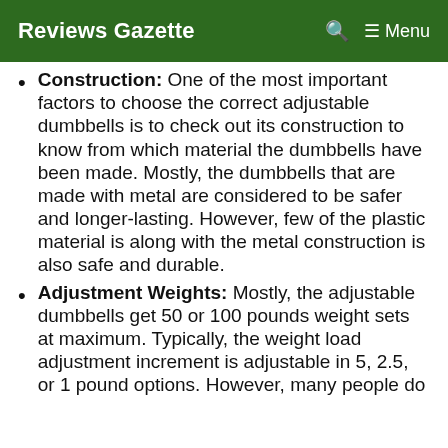Reviews Gazette
Construction: One of the most important factors to choose the correct adjustable dumbbells is to check out its construction to know from which material the dumbbells have been made. Mostly, the dumbbells that are made with metal are considered to be safer and longer-lasting. However, few of the plastic material is along with the metal construction is also safe and durable.
Adjustment Weights: Mostly, the adjustable dumbbells get 50 or 100 pounds weight sets at maximum. Typically, the weight load adjustment increment is adjustable in 5, 2.5, or 1 pound options. However, many people do